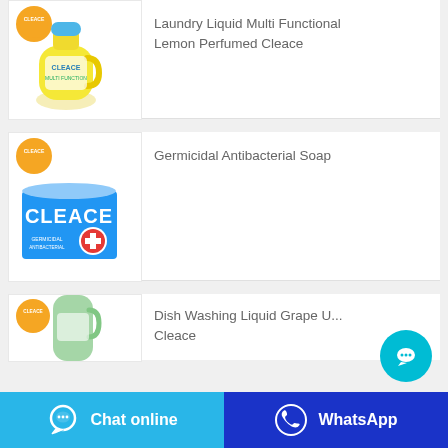[Figure (photo): Cleace branded yellow laundry liquid multi-functional lemon perfumed bottle with orange Cleace logo badge]
Laundry Liquid Multi Functional Lemon Perfumed Cleace
[Figure (photo): Cleace branded germicidal antibacterial soap box in blue packaging with red cross symbol and orange Cleace logo badge]
Germicidal Antibacterial Soap
[Figure (photo): Cleace branded dish washing liquid grape bottle (green), partially visible, with orange Cleace logo badge]
Dish Washing Liquid Grape U... Cleace
Chat online
WhatsApp